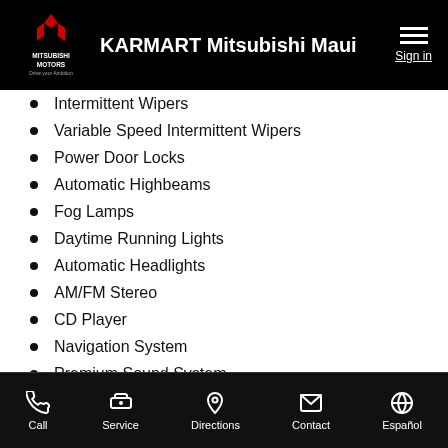KARMART Mitsubishi Maui
Intermittent Wipers
Variable Speed Intermittent Wipers
Power Door Locks
Automatic Highbeams
Fog Lamps
Daytime Running Lights
Automatic Headlights
AM/FM Stereo
CD Player
Navigation System
Premium Sound System
Satellite Radio
MP3 Player
Bluetooth Connection
Call | Service | Directions | Contact | Español